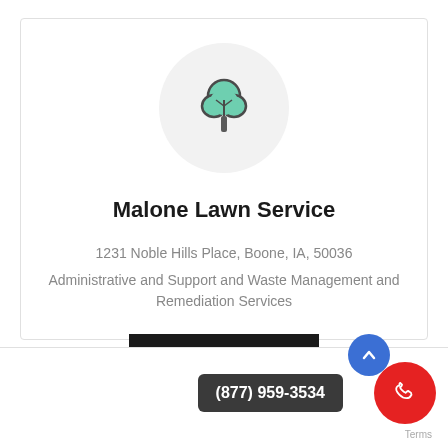[Figure (logo): Tree icon in a light gray circle — stylized green tree with a dark gray trunk on a light gray circular background]
Malone Lawn Service
1231 Noble Hills Place, Boone, IA, 50036
Administrative and Support and Waste Management and Remediation Services
View Details
(877) 959-3534